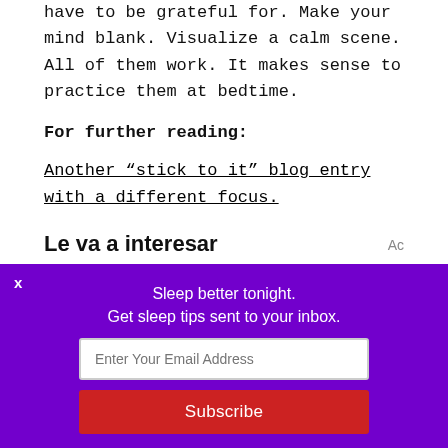have to be grateful for. Make your mind blank. Visualize a calm scene. All of them work. It makes sense to practice them at bedtime.
For further reading:
Another “stick to it” blog entry with a different focus.
Le va a interesar
[Figure (photo): Two people standing outdoors near a lake, one in a wedding dress]
[Figure (photo): Close-up of cooked bacon or meat]
Sleep better tonight.
Get sleep tips sent to your inbox.
Enter Your Email Address
Subscribe